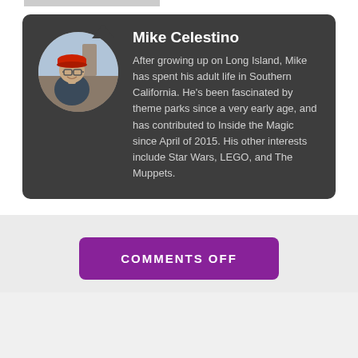[Figure (photo): Circular profile photo of Mike Celestino, a man wearing glasses and a red cap, photographed outdoors near a statue.]
Mike Celestino
After growing up on Long Island, Mike has spent his adult life in Southern California. He's been fascinated by theme parks since a very early age, and has contributed to Inside the Magic since April of 2015. His other interests include Star Wars, LEGO, and The Muppets.
COMMENTS OFF